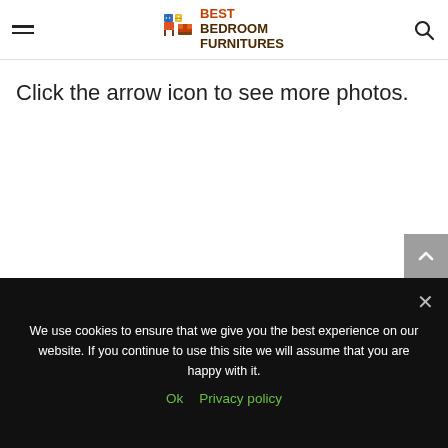Best Bedroom Furnitures
Click the arrow icon to see more photos.
We use cookies to ensure that we give you the best experience on our website. If you continue to use this site we will assume that you are happy with it.
Ok   Privacy policy